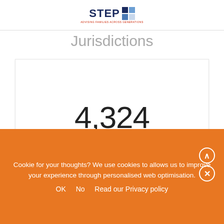[Figure (logo): STEP logo with text 'STEP' in dark navy blue with a blue/silver grid icon, subtitle 'ADVISING FAMILIES ACROSS GENERATIONS']
Jurisdictions
4,324
Unique visitors
4,879
Page Views
Cookie for your thoughts? We use cookies to allows us to improve your experience through personalised web optimisation.
OK   No   Read our Privacy policy